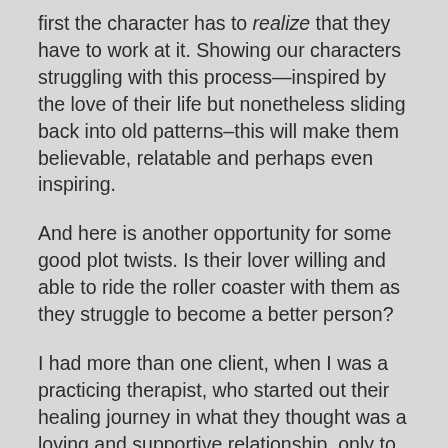first the character has to realize that they have to work at it. Showing our characters struggling with this process—inspired by the love of their life but nonetheless sliding back into old patterns–this will make them believable, relatable and perhaps even inspiring.
And here is another opportunity for some good plot twists. Is their lover willing and able to ride the roller coaster with them as they struggle to become a better person?
I had more than one client, when I was a practicing therapist, who started out their healing journey in what they thought was a loving and supportive relationship, only to have that relationship become unraveled as they improved their mental health... and outgrew their partner.